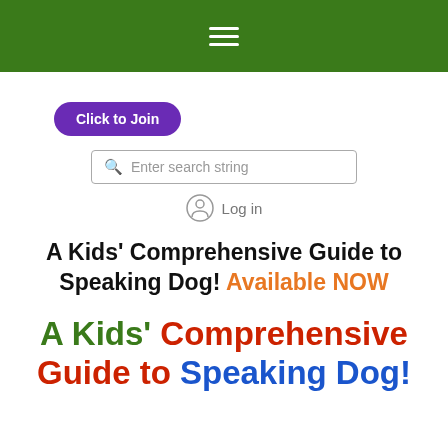Navigation bar with hamburger menu
Click to Join
Enter search string
Log in
A Kids' Comprehensive Guide to Speaking Dog! Available NOW
A Kids' Comprehensive Guide to Speaking Dog!